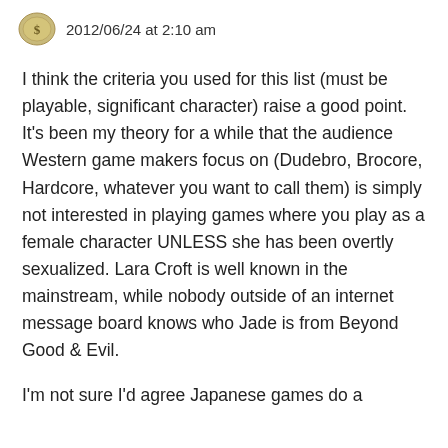2012/06/24 at 2:10 am
I think the criteria you used for this list (must be playable, significant character) raise a good point. It’s been my theory for a while that the audience Western game makers focus on (Dudebro, Brocore, Hardcore, whatever you want to call them) is simply not interested in playing games where you play as a female character UNLESS she has been overtly sexualized. Lara Croft is well known in the mainstream, while nobody outside of an internet message board knows who Jade is from Beyond Good & Evil.
I’m not sure I’d agree Japanese games do a